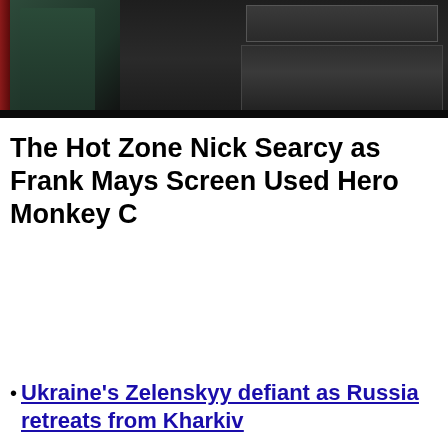[Figure (photo): Dark scene showing a person in green/dark clothing in what appears to be a laboratory or facility setting, with equipment visible on the right side. A red element is visible on the left edge.]
The Hot Zone Nick Searcy as Frank Mays Screen Used Hero Monkey C
Ukraine's Zelenskyy defiant as Russia retreats from Kharkiv